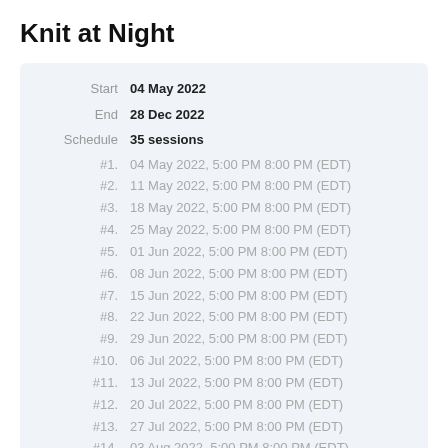Knit at Night
| Label | Value |
| --- | --- |
| Start | 04 May 2022 |
| End | 28 Dec 2022 |
| Schedule | 35 sessions |
| #1. | 04 May 2022, 5:00 PM 8:00 PM (EDT) |
| #2. | 11 May 2022, 5:00 PM 8:00 PM (EDT) |
| #3. | 18 May 2022, 5:00 PM 8:00 PM (EDT) |
| #4. | 25 May 2022, 5:00 PM 8:00 PM (EDT) |
| #5. | 01 Jun 2022, 5:00 PM 8:00 PM (EDT) |
| #6. | 08 Jun 2022, 5:00 PM 8:00 PM (EDT) |
| #7. | 15 Jun 2022, 5:00 PM 8:00 PM (EDT) |
| #8. | 22 Jun 2022, 5:00 PM 8:00 PM (EDT) |
| #9. | 29 Jun 2022, 5:00 PM 8:00 PM (EDT) |
| #10. | 06 Jul 2022, 5:00 PM 8:00 PM (EDT) |
| #11. | 13 Jul 2022, 5:00 PM 8:00 PM (EDT) |
| #12. | 20 Jul 2022, 5:00 PM 8:00 PM (EDT) |
| #13. | 27 Jul 2022, 5:00 PM 8:00 PM (EDT) |
| #14. | 03 Aug 2022, 5:00 PM 8:00 PM (EDT) |
| #15. | 10 Aug 2022, 5:00 PM 8:00 PM (EDT) |